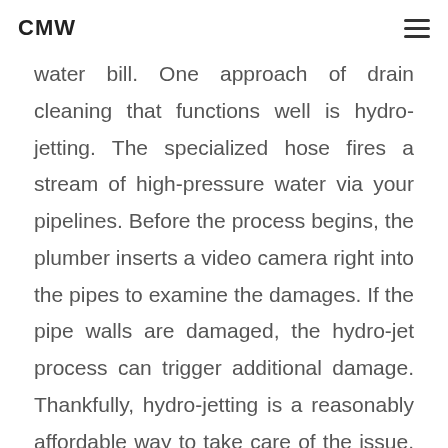CMW
water bill. One approach of drain cleaning that functions well is hydro-jetting. The specialized hose fires a stream of high-pressure water via your pipelines. Before the process begins, the plumber inserts a video camera right into the pipes to examine the damages. If the pipe walls are damaged, the hydro-jet process can trigger additional damage. Thankfully, hydro-jetting is a reasonably affordable way to take care of the issue. Along with avoiding major problems, it additionally boosts your interior air high quality. Microorganisms and also mold and mildew thrive in clogged drains. If left without treatment, they can cause smells throughout your residence. The following action in drain cleansing is drain stenting.